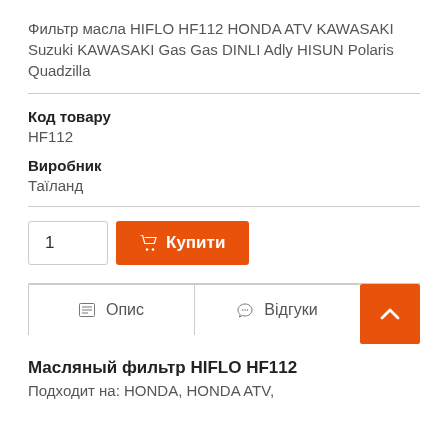Фильтр масла HIFLO HF112 HONDA ATV KAWASAKI Suzuki KAWASAKI Gas Gas DINLI Adly HISUN Polaris Quadzilla
Код товару
HF112
Виробник
Таїланд
1  Купити
Опис   Відгуки
Масляный фильтр HIFLO HF112
Подходит на: HONDA, HONDA ATV,